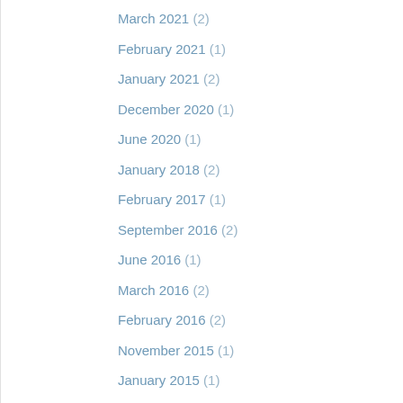March 2021 (2)
February 2021 (1)
January 2021 (2)
December 2020 (1)
June 2020 (1)
January 2018 (2)
February 2017 (1)
September 2016 (2)
June 2016 (1)
March 2016 (2)
February 2016 (2)
November 2015 (1)
January 2015 (1)
October 2014 (1)